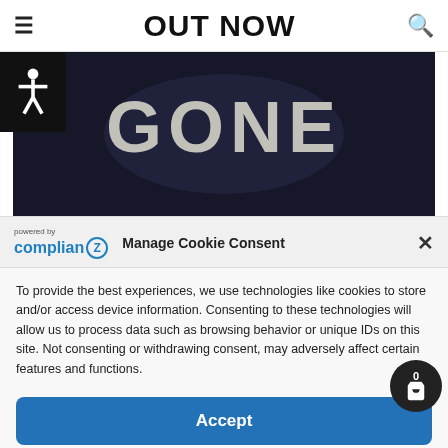OUT NOW
[Figure (screenshot): Dark background with 'GONE' text displayed in stylized bold lettering]
powered by Complian Z — Manage Cookie Consent
To provide the best experiences, we use technologies like cookies to store and/or access device information. Consenting to these technologies will allow us to process data such as browsing behavior or unique IDs on this site. Not consenting or withdrawing consent, may adversely affect certain features and functions.
Accept
Cookie Policy | Privacy Statement | Imprint